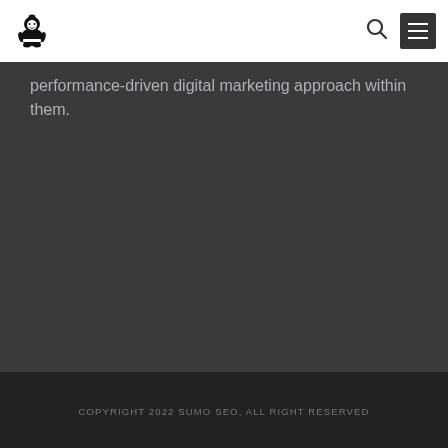Sumo SEO logo, search icon, menu button
performance-driven digital marketing approach within them.
COPYRIGHT 2022 SUMO SEO, ALL RIGHT RESERVED